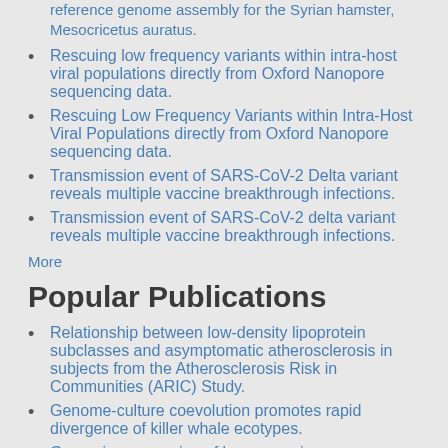reference genome assembly for the Syrian hamster, Mesocricetus auratus.
Rescuing low frequency variants within intra-host viral populations directly from Oxford Nanopore sequencing data.
Rescuing Low Frequency Variants within Intra-Host Viral Populations directly from Oxford Nanopore sequencing data.
Transmission event of SARS-CoV-2 Delta variant reveals multiple vaccine breakthrough infections.
Transmission event of SARS-CoV-2 delta variant reveals multiple vaccine breakthrough infections.
More
Popular Publications
Relationship between low-density lipoprotein subclasses and asymptomatic atherosclerosis in subjects from the Atherosclerosis Risk in Communities (ARIC) Study.
Genome-culture coevolution promotes rapid divergence of killer whale ecotypes.
Genomic sequencing of key genes in mouse